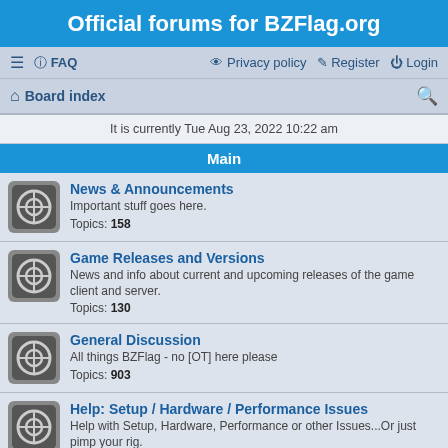Official forums for BZFlag.org
≡  FAQ    Privacy policy   Register   Login
Board index
It is currently Tue Aug 23, 2022 10:22 am
Main
News & Announcements
Important stuff goes here.
Topics: 158
Game Releases and Versions
News and info about current and upcoming releases of the game client and server.
Topics: 130
General Discussion
All things BZFlag - no [OT] here please
Topics: 903
Help: Setup / Hardware / Performance Issues
Help with Setup, Hardware, Performance or other Issues...Or just pimp your rig.
Topics: 1308
Help: Tactics and Playstyles
Questions and comments on tactics and playstyles
Topics: 168